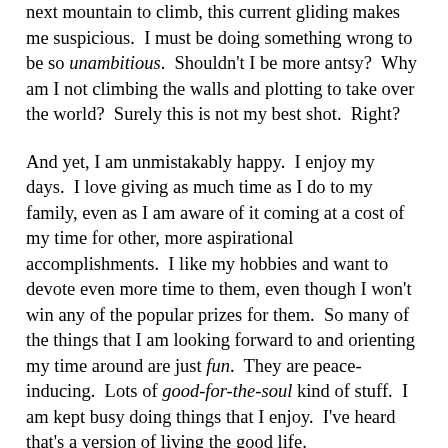next mountain to climb, this current gliding makes me suspicious.  I must be doing something wrong to be so unambitious.  Shouldn't I be more antsy?  Why am I not climbing the walls and plotting to take over the world?  Surely this is not my best shot.  Right?
And yet, I am unmistakably happy.  I enjoy my days.  I love giving as much time as I do to my family, even as I am aware of it coming at a cost of my time for other, more aspirational accomplishments.  I like my hobbies and want to devote even more time to them, even though I won't win any of the popular prizes for them.  So many of the things that I am looking forward to and orienting my time around are just fun.  They are peace-inducing.  Lots of good-for-the-soul kind of stuff.  I am kept busy doing things that I enjoy.  I've heard that's a version of living the good life.
So, why do I still feel that nagging thought about doing more and bigger?  Why did my note to Tamara about not settling